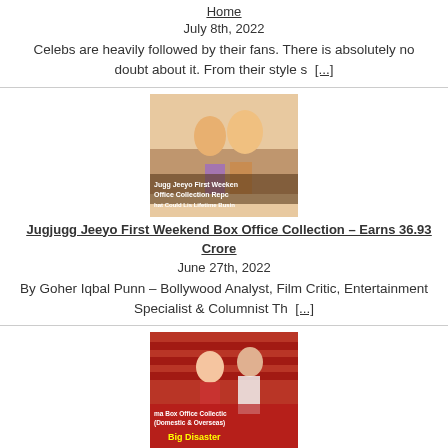Home
July 8th, 2022
Celebs are heavily followed by their fans. There is absolutely no doubt about it. From their style s [...]
[Figure (photo): Movie promotional image for Jugjugg Jeeyo First Weekend Box Office Collection Report]
Jugjugg Jeeyo First Weekend Box Office Collection – Earns 36.93 Crore
June 27th, 2022
By Goher Iqbal Punn – Bollywood Analyst, Film Critic, Entertainment Specialist & Columnist Th [...]
[Figure (photo): Movie promotional image for Nikamma Box Office Collection Updates (Domestic and Overseas) – Big Disaster]
Nikamma Box Office Collection Updates (Domestic and Overseas)
June 23rd, 2022